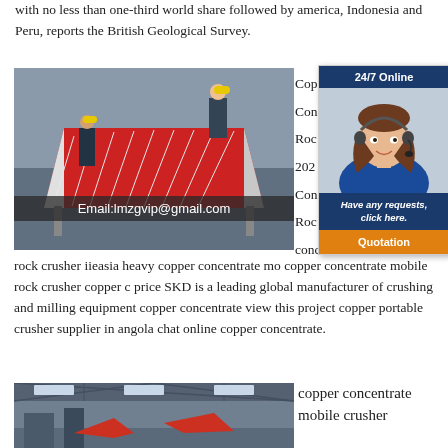with no less than one-third world share followed by america, Indonesia and Peru, reports the British Geological Survey.
[Figure (photo): Industrial machinery with red metal parts being assembled by workers in yellow hard hats in a factory setting]
Email:lmzgvip@gmail.com
[Figure (infographic): 24/7 Online customer support popup with woman wearing headset, 'Have any requests, click here.' message and Quotation button]
Copper Concentrate Mobile Rock Crusher 2023... Copper Concentrate Mobile Rock Crusher concentrate
rock crusher iieasia heavy copper concentrate mobile copper concentrate mobile rock crusher copper concentrate price SKD is a leading global manufacturer of crushing and milling equipment copper concentrate view this project copper portable crusher supplier in angola chat online copper concentrate.
[Figure (photo): Industrial warehouse or factory interior with crane/hoist equipment visible]
copper concentrate mobile crusher